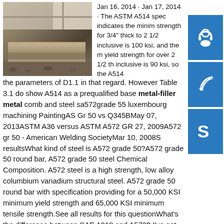[Figure (photo): Steel plates stacked in an industrial warehouse or yard, showing large flat metal plates with rust and weathering.]
Jan 16, 2014 · Jan 17, 2014 · The ASTM A514 spec indicates the minimum yield strength for 3/4" thick to 2 1/2" inclusive is 100 ksi, and the minimum yield strength for over 2 1/2 thick to fill inclusive is 90 ksi, so the A514 meets the parameters of D1.1 in that regard. However Table 3.1 does not show A514 as a prequalified base metal-filler metal combination, and steel sa572grade 55 luxembourg machining PaintingASTM A572 Gr 50 vs Q345BMay 07, 2013ASTM A36 versus ASTM A572 GR May 27, 2009A572 gr 50 - American Welding SocietyMar 10, 2008See all resultsWhat kind of steel is A572 grade 50?A572 grade 50 round bar, A572 grade 50 steel Chemical Composition. A572 steel is a high strength, low alloy columbium vanadium structural steel. A572 grade 50 round bar with specification providing for a 50,000 KSI minimum yield strength and 65,000 KSI minimum tensile strength.See all results for this questionWhat's the difference between SAE 1018 and A572? I've got the ASTM Book before me and A-572 is defined as "High strength, low alloy, columbium-vanadium steels of structural quality"